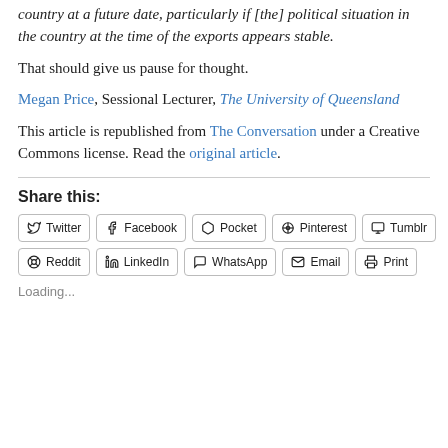country at a future date, particularly if [the] political situation in the country at the time of the exports appears stable.
That should give us pause for thought.
Megan Price, Sessional Lecturer, The University of Queensland
This article is republished from The Conversation under a Creative Commons license. Read the original article.
Share this:
Twitter Facebook Pocket Pinterest Tumblr Reddit LinkedIn WhatsApp Email Print
Loading...